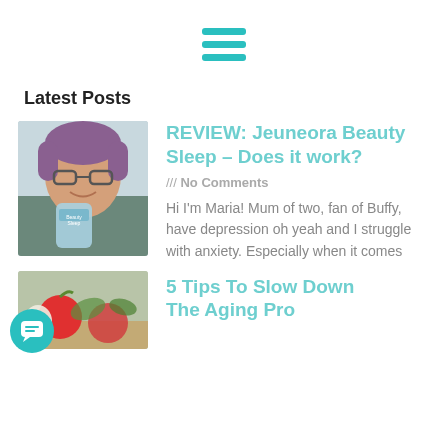[Figure (illustration): Hamburger menu icon with three teal horizontal lines]
Latest Posts
[Figure (photo): Woman with glasses and short purple/mauve hair holding a blue Jeuneora Beauty Sleep supplement container, smiling]
REVIEW: Jeuneora Beauty Sleep – Does it work?
/// No Comments
Hi I'm Maria! Mum of two, fan of Buffy, have depression oh yeah and I struggle with anxiety. Especially when it comes
[Figure (photo): Food/apple themed thumbnail showing red apples and other ingredients on a wooden surface]
5 Tips To Slow Down The Aging Process